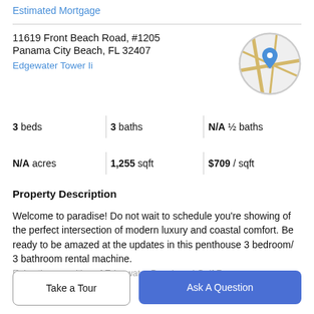Estimated Mortgage
11619 Front Beach Road, #1205
Panama City Beach, FL 32407
Edgewater Tower Ii
[Figure (map): Circular map thumbnail showing street map with a blue location pin marker]
| 3 beds | 3 baths | N/A ½ baths |
| N/A acres | 1,255 sqft | $709 / sqft |
Property Description
Welcome to paradise! Do not wait to schedule you're showing of the perfect intersection of modern luxury and coastal comfort. Be ready to be amazed at the updates in this penthouse 3 bedroom/ 3 bathroom rental machine.
Enjoy the amenities of Edgewater Beach and Gulf Room...
Take a Tour
Ask A Question